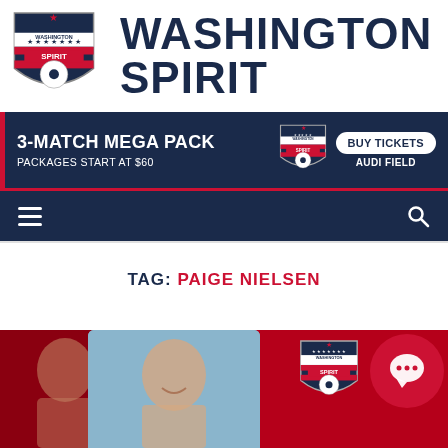[Figure (logo): Washington Spirit shield logo with red white and blue stripes and stars]
WASHINGTON SPIRIT
[Figure (infographic): Dark navy ad banner: 3-MATCH MEGA PACK, PACKAGES START AT $60, Spirit logo, BUY TICKETS button, AUDI FIELD]
[Figure (screenshot): Dark navy navigation bar with hamburger menu icon on left and search icon on right]
TAG: PAIGE NIELSEN
[Figure (photo): Photo collage showing two female soccer players on red background with Washington Spirit logo and chat bubble overlay]